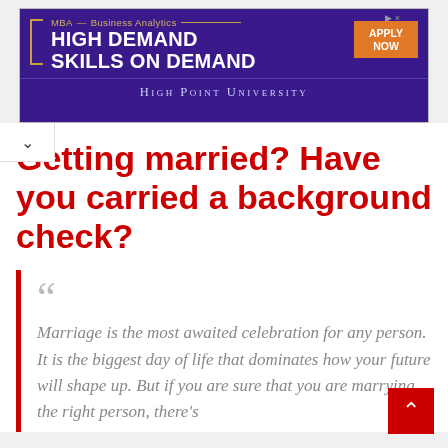[Figure (screenshot): University advertisement banner for High Point University MBA Business Analytics program. Purple background with text 'MBA – Business Analytics', 'HIGH DEMAND SKILLS ON DEMAND', orange 'APPLY NOW' button, and 'HIGH POINT UNIVERSITY' at the bottom.]
Getting married? Have you carried a background check?
Marriage is the most awaited celebration for any person. It is the biggest day of life that dominates how your future will shape up. But if you are sure that you are marrying the right person, there's